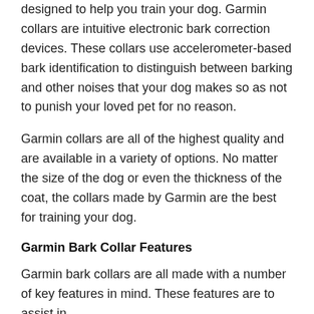designed to help you train your dog. Garmin collars are intuitive electronic bark correction devices. These collars use accelerometer-based bark identification to distinguish between barking and other noises that your dog makes so as not to punish your loved pet for no reason.
Garmin collars are all of the highest quality and are available in a variety of options. No matter the size of the dog or even the thickness of the coat, the collars made by Garmin are the best for training your dog.
Garmin Bark Collar Features
Garmin bark collars are all made with a number of key features in mind. These features are to assist in